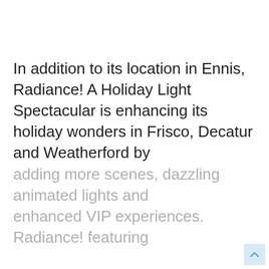In addition to its location in Ennis, Radiance! A Holiday Light Spectacular is enhancing its holiday wonders in Frisco, Decatur and Weatherford by adding more scenes, dazzling animated lights and enhanced VIP experiences. Radiance! featuring